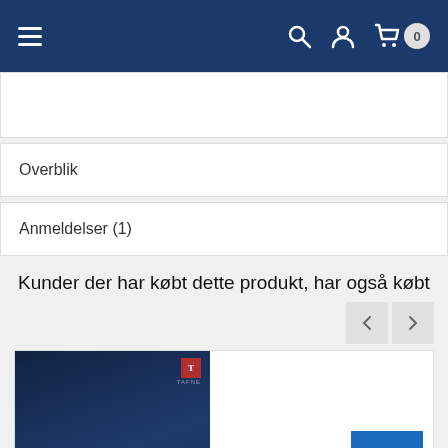Navigation bar with hamburger menu, search, user, and cart (0 items)
Overblik
Anmeldelser (1)
Kunder der har købt dette produkt, har også købt
[Figure (screenshot): Book cover for 'Repentance: Breaking the Habit of Sin' with dark blue background, circular dots, and publisher logo]